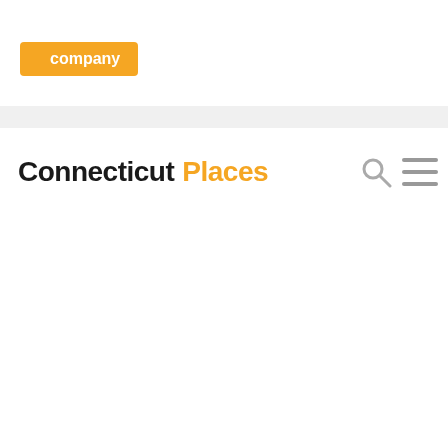[Figure (screenshot): Top navigation bar with orange button labeled 'company' with a caret/up-arrow icon to its left]
Connecticut Places
[Figure (screenshot): Search icon (magnifying glass) and hamburger menu icon in gray on the right side of the navigation bar]